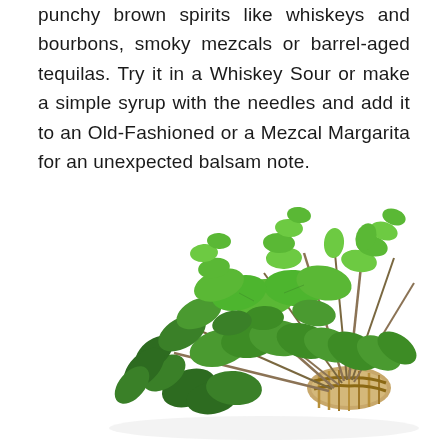punchy brown spirits like whiskeys and bourbons, smoky mezcals or barrel-aged tequilas. Try it in a Whiskey Sour or make a simple syrup with the needles and add it to an Old-Fashioned or a Mezcal Margarita for an unexpected balsam note.
[Figure (photo): A fresh bundle of thyme herb tied together with twine, showing bright green oval leaves on multiple stems, photographed on a white background.]